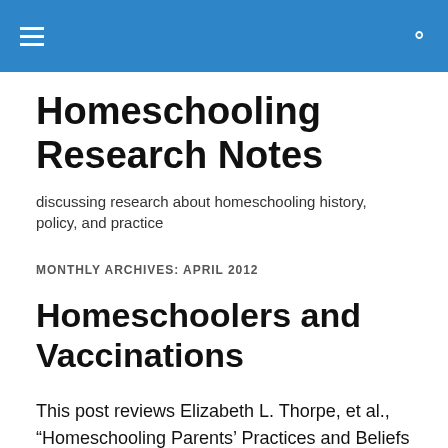Homeschooling Research Notes [navigation header with menu and search icons]
Homeschooling Research Notes
discussing research about homeschooling history, policy, and practice
MONTHLY ARCHIVES: APRIL 2012
Homeschoolers and Vaccinations
This post reviews Elizabeth L. Thorpe, et al., “Homeschooling Parents’ Practices and Beliefs about Childhood Immunizations” in Vaccine, 30, no. 6 (February